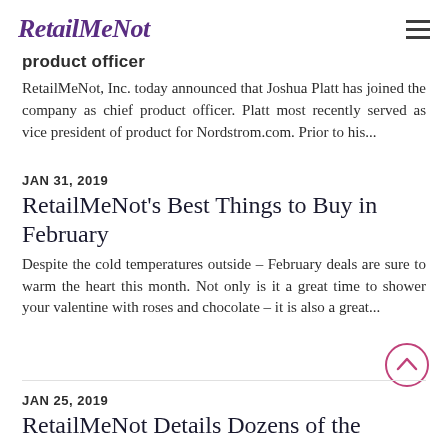RetailMeNot
product officer
RetailMeNot, Inc. today announced that Joshua Platt has joined the company as chief product officer. Platt most recently served as vice president of product for Nordstrom.com. Prior to his...
JAN 31, 2019
RetailMeNot's Best Things to Buy in February
Despite the cold temperatures outside – February deals are sure to warm the heart this month. Not only is it a great time to shower your valentine with roses and chocolate – it is also a great...
JAN 25, 2019
RetailMeNot Details Dozens of the